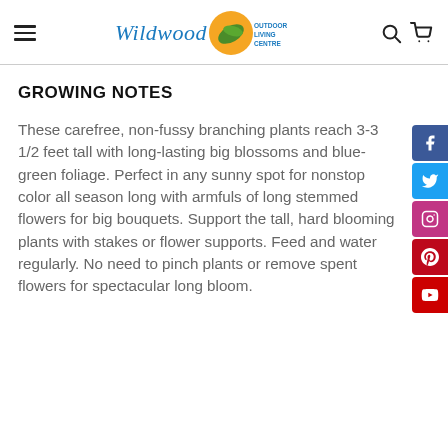Wildwood Outdoor Living Centre
GROWING NOTES
These carefree, non-fussy branching plants reach 3-3 1/2 feet tall with long-lasting big blossoms and blue-green foliage. Perfect in any sunny spot for nonstop color all season long with armfuls of long stemmed flowers for big bouquets. Support the tall, hard blooming plants with stakes or flower supports. Feed and water regularly. No need to pinch plants or remove spent flowers for spectacular long bloom.